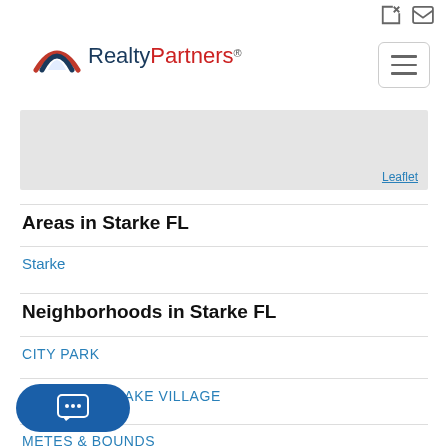[Figure (logo): RealtyPartners logo with mountain/arc icon and red/blue text]
[Figure (screenshot): Map area (Leaflet map placeholder), light grey background with 'Leaflet' link in bottom right]
Areas in Starke FL
Starke
Neighborhoods in Starke FL
CITY PARK
LAKE VILLAGE
METES & BOUNDS